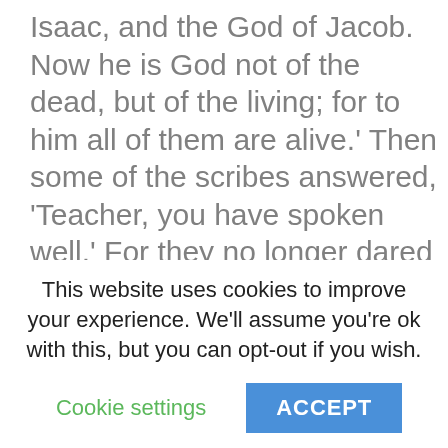Isaac, and the God of Jacob. Now he is God not of the dead, but of the living; for to him all of them are alive.' Then some of the scribes answered, 'Teacher, you have spoken well.' For they no longer dared to ask him another question. Then he said to them, 'How can they say that the Messiah is David's son?  For David himself says in the book of Psalms, “The Lord said to my Lord, 'Sit at my right hand, until I make your enemies your footstool.'” David thus calls him Lord; so how can he be his son?' In the
This website uses cookies to improve your experience. We'll assume you're ok with this, but you can opt-out if you wish.
Cookie settings
ACCEPT